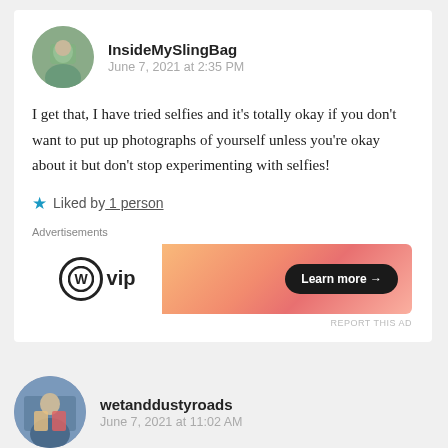InsideMySlingBag
June 7, 2021 at 2:35 PM
I get that, I have tried selfies and it’s totally okay if you don’t want to put up photographs of yourself unless you’re okay about it but don’t stop experimenting with selfies!
★ Liked by 1 person
Advertisements
[Figure (logo): WordPress VIP logo with circular WP icon and 'vip' text]
[Figure (infographic): Orange gradient advertisement banner with Learn more button]
REPORT THIS AD
wetanddustyroads
June 7, 2021 at 11:02 AM